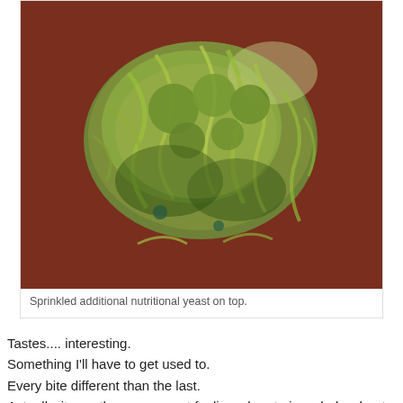[Figure (photo): Close-up photo of a green food item (broccoli or similar vegetable) coated with nutritional yeast, served on a dark reddish-brown plate or background.]
Sprinkled additional nutritional yeast on top.
Tastes.... interesting.
Something I'll have to get used to.
Every bite different than the last.
Actually, it was the same exact feeling when trying whole wheat pasta for the first time. All grainy and foreign textured,